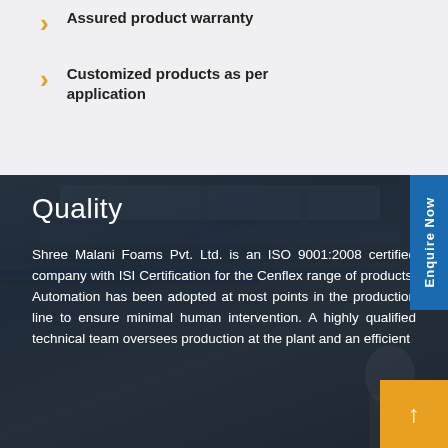Assured product warranty
Customized products as per application
Quality
Shree Malani Foams Pvt. Ltd. is an ISO 9001:2008 certified company with ISI Certification for the Cenflex range of products. Automation has been adopted at most points in the production line to ensure minimal human intervention. A highly qualified technical team oversees production at the plant and an efficient